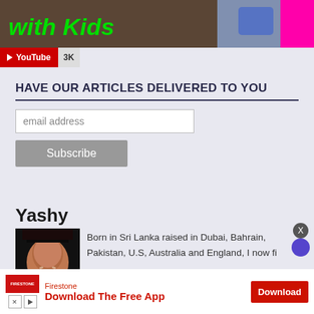[Figure (screenshot): Website banner with 'with Kids' text in green on dark background with fence image, person visible on right side, pink stripe on far right]
[Figure (screenshot): YouTube subscribe button showing red YouTube logo with play icon, label 'YouTube', and count '3K']
HAVE OUR ARTICLES DELIVERED TO YOU
[Figure (screenshot): Email subscription form with email address input field and Subscribe button]
Yashy
[Figure (photo): Photo of Yashy, a woman with dark hair smiling]
Born in Sri Lanka raised in Dubai, Bahrain, Pakistan, U.S, Australia and England, I now fi
[Figure (screenshot): Advertisement banner for Firestone app: 'Firestone - Download The Free App' with Download button and X/play icons]